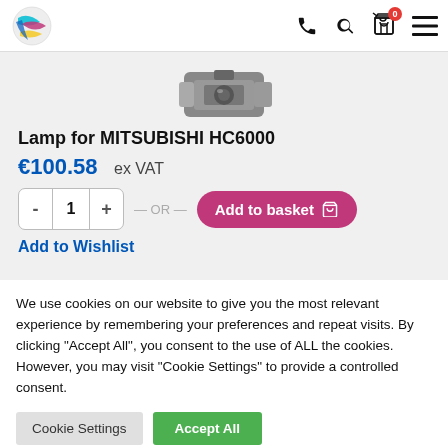[Figure (logo): Colorful globe/sphere logo with cyan, magenta, yellow streaks]
[Figure (photo): Partial photo of a projector lamp module, gray and metallic]
Lamp for MITSUBISHI HC6000
€100.58    ex VAT
- 1 + — OR — Add to basket
Add to Wishlist
We use cookies on our website to give you the most relevant experience by remembering your preferences and repeat visits. By clicking "Accept All", you consent to the use of ALL the cookies. However, you may visit "Cookie Settings" to provide a controlled consent.
Cookie Settings   Accept All